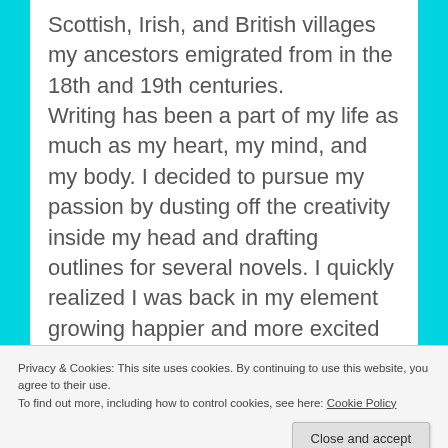Scottish, Irish, and British villages my ancestors emigrated from in the 18th and 19th centuries.

Writing has been a part of my life as much as my heart, my mind, and my body. I decided to pursue my passion by dusting off the creativity inside my head and drafting outlines for several novels. I quickly realized I was back in my element growing happier and more excited with life each day. My goal in writing is to connect with readers who want to be part of great stories and who enjoy interacting with authors. To get a strong picture of who I am, check out my author website or my blog.
Privacy & Cookies: This site uses cookies. By continuing to use this website, you agree to their use.
To find out more, including how to control cookies, see here: Cookie Policy
Shatter, I know I'd stumbled upon my passion